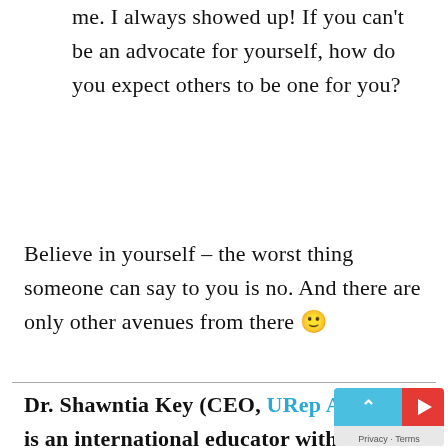me. I always showed up! If you can't be an advocate for yourself, how do you expect others to be one for you?
Believe in yourself – the worst thing someone can say to you is no. And there are only other avenues from there 🙂
Dr. Shawntia Key (CEO, URep Abroad) is an international educator with more than 10+ years of experience in strategic planning, program development